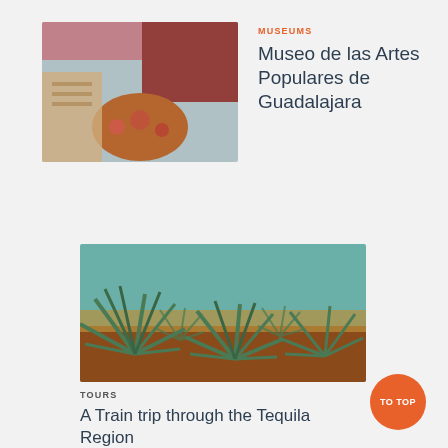[Figure (photo): Photo of colorful folk art crafts at Museo de las Artes Populares de Guadalajara, showing embroidered textiles and decorative objects with warm colors]
MUSEUMS
Museo de las Artes Populares de Guadalajara
[Figure (photo): Photo of blue agave plants growing in rows in a field with reddish-brown soil, with a teal-blue sky in the background — Tequila Region, Mexico]
TOURS
A Train trip through the Tequila Region